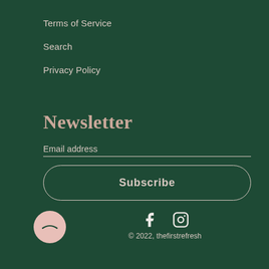Terms of Service
Search
Privacy Policy
Newsletter
Email address
Subscribe
[Figure (logo): Circular logo with sad/droopy face arc, pink on dark green background]
[Figure (other): Facebook and Instagram social media icons in white/cream]
© 2022, thefirstrefresh